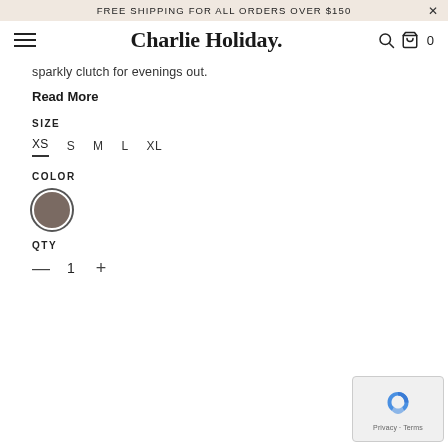FREE SHIPPING FOR ALL ORDERS OVER $150
[Figure (logo): Charlie Holiday. brand logo with hamburger menu, search icon, cart icon showing 0]
sparkly clutch for evenings out.
Read More
SIZE
XS  S  M  L  XL (XS selected)
COLOR
[Figure (other): Brown/taupe color swatch circle with dark border (selected)]
QTY
— 1 +